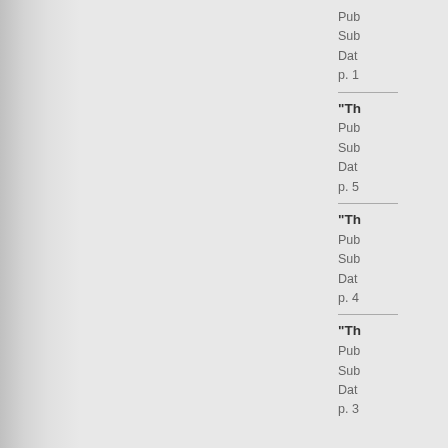Pub
Sub
Dat
p. 1
"Th
Pub
Sub
Dat
p. 5
"Th
Pub
Sub
Dat
p. 4
"Th
Pub
Sub
Dat
p. 3